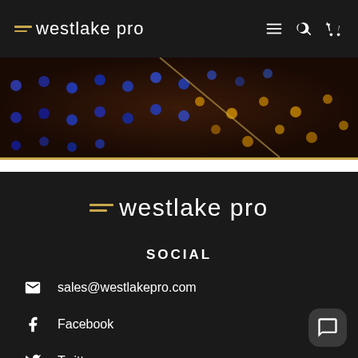westlake pro
[Figure (photo): Close-up photo of blue and orange/gold LED lights on what appears to be audio mixing or electronic equipment, bokeh style on dark background]
[Figure (logo): Westlake Pro logo — horizontal lines icon in gold followed by white text 'westlake pro']
SOCIAL
sales@westlakepro.com
Facebook
Twitter
Instagram
Youtube